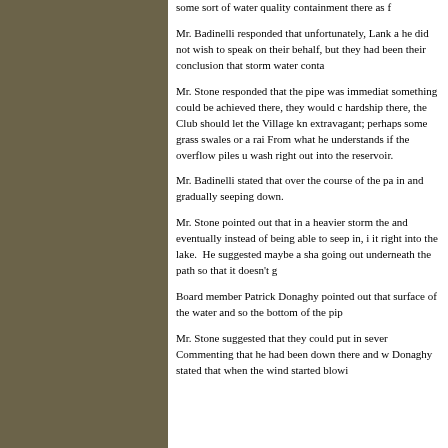some sort of water quality containment there as f
Mr. Badinelli responded that unfortunately, Lank a he did not wish to speak on their behalf, but they had been their conclusion that storm water conta
Mr. Stone responded that the pipe was immediat something could be achieved there, they would c hardship there, the Club should let the Village kn extravagant; perhaps some grass swales or a rai From what he understands if the overflow piles u wash right out into the reservoir.
Mr. Badinelli stated that over the course of the pa in and gradually seeping down.
Mr. Stone pointed out that in a heavier storm the and eventually instead of being able to seep in, i it right into the lake. He suggested maybe a sha going out underneath the path so that it doesn't g
Board member Patrick Donaghy pointed out that surface of the water and so the bottom of the pip
Mr. Stone suggested that they could put in sever Commenting that he had been down there and w Donaghy stated that when the wind started blowi